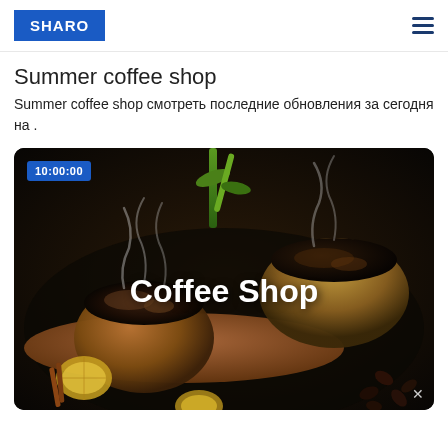SHARO
Summer coffee shop
Summer coffee shop смотреть последние обновления за сегодня на .
[Figure (screenshot): Video thumbnail showing two cups of coffee on a tray with coffee beans, citrus slices, and green leaves. White text overlay reads 'Coffee Shop'. Blue timestamp badge shows '10:00:00' in upper left corner.]